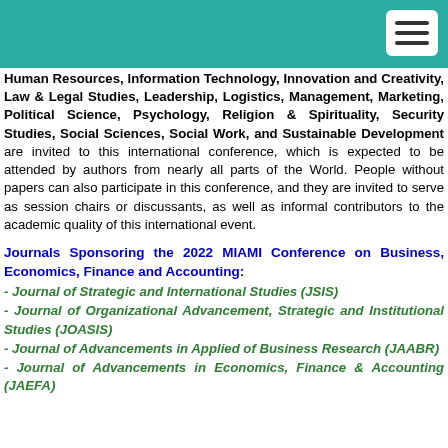Human Resources, Information Technology, Innovation and Creativity, Law & Legal Studies, Leadership, Logistics, Management, Marketing, Political Science, Psychology, Religion & Spirituality, Security Studies, Social Sciences, Social Work, and Sustainable Development are invited to this international conference, which is expected to be attended by authors from nearly all parts of the World. People without papers can also participate in this conference, and they are invited to serve as session chairs or discussants, as well as informal contributors to the academic quality of this international event.
Journals Sponsoring the 2022 MIAMI Conference on Business, Economics, Finance and Accounting:
- Journal of Strategic and International Studies (JSIS)
- Journal of Organizational Advancement, Strategic and Institutional Studies (JOASIS)
- Journal of Advancements in Applied of Business Research (JAABR)
- Journal of Advancements in Economics, Finance & Accounting (JAEFA)